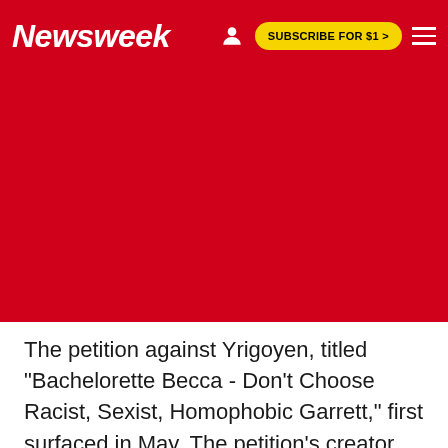Newsweek  SUBSCRIBE FOR $1 >
[Figure (other): Red advertisement placeholder area]
The petition against Yrigoyen, titled "Bachelorette Becca - Don't Choose Racist, Sexist, Homophobic Garrett," first surfaced in May. The petition's creator suggested that the